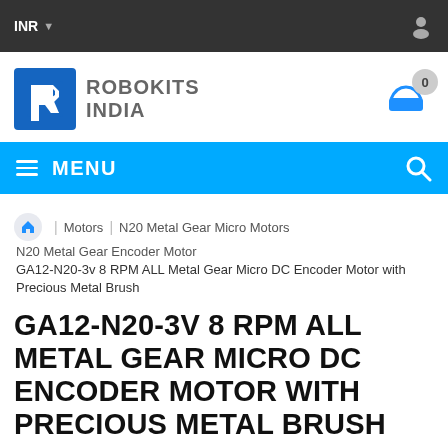INR
[Figure (logo): Robokits India logo with blue R icon and gray ROBOKITS INDIA text]
MENU
Home / Motors / N20 Metal Gear Micro Motors / N20 Metal Gear Encoder Motor / GA12-N20-3v 8 RPM ALL Metal Gear Micro DC Encoder Motor with Precious Metal Brush
GA12-N20-3V 8 RPM ALL METAL GEAR MICRO DC ENCODER MOTOR WITH PRECIOUS METAL BRUSH